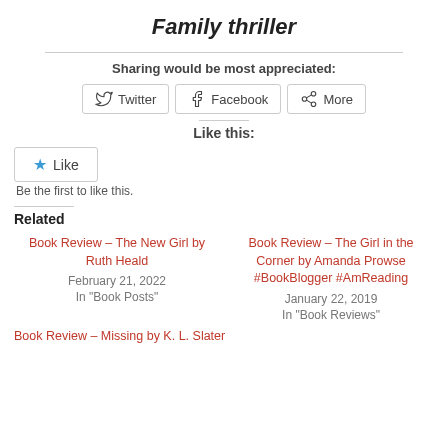Family thriller
Sharing would be most appreciated:
[Figure (screenshot): Social sharing buttons: Twitter, Facebook, More]
Like this:
[Figure (screenshot): Like button widget with star icon]
Be the first to like this.
Related
Book Review – The New Girl by Ruth Heald
February 21, 2022
In "Book Posts"
Book Review – The Girl in the Corner by Amanda Prowse #BookBlogger #AmReading
January 22, 2019
In "Book Reviews"
Book Review – Missing by K. L. Slater